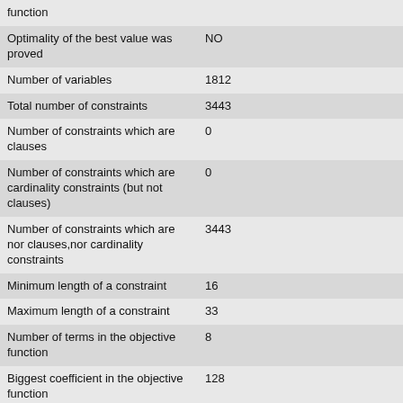| Property | Value |
| --- | --- |
| function |  |
| Optimality of the best value was proved | NO |
| Number of variables | 1812 |
| Total number of constraints | 3443 |
| Number of constraints which are clauses | 0 |
| Number of constraints which are cardinality constraints (but not clauses) | 0 |
| Number of constraints which are nor clauses,nor cardinality constraints | 3443 |
| Minimum length of a constraint | 16 |
| Maximum length of a constraint | 33 |
| Number of terms in the objective function | 8 |
| Biggest coefficient in the objective function | 128 |
| Number of bits for the biggest coefficient in the objective function | 8 |
| Sum of the numbers in the objective function | 255 |
| Number of bits of the sum of |  |